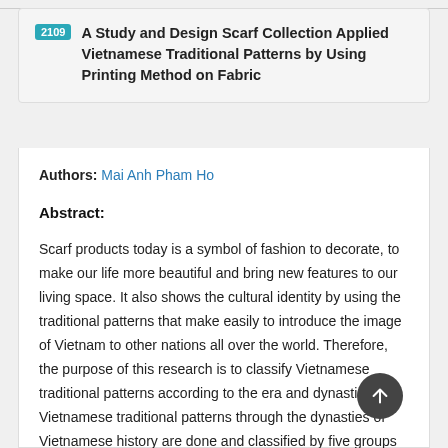2109 A Study and Design Scarf Collection Applied Vietnamese Traditional Patterns by Using Printing Method on Fabric
Authors: Mai Anh Pham Ho
Abstract:
Scarf products today is a symbol of fashion to decorate, to make our life more beautiful and bring new features to our living space. It also shows the cultural identity by using the traditional patterns that make easily to introduce the image of Vietnam to other nations all over the world. Therefore, the purpose of this research is to classify Vietnamese traditional patterns according to the era and dynasties. Vietnamese traditional patterns through the dynasties of Vietnamese history are done and classified by five groups of patterns